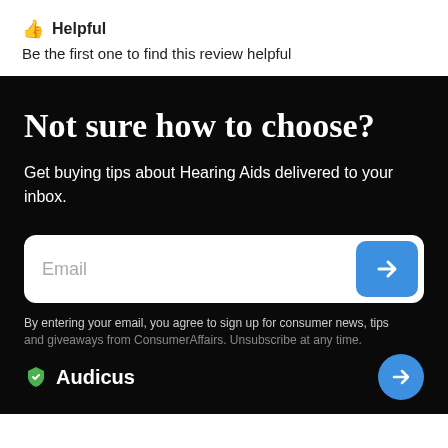👍 Helpful
Be the first one to find this review helpful
Not sure how to choose?
Get buying tips about Hearing Aids delivered to your inbox.
[Figure (screenshot): Email input field with blue arrow submit button]
By entering your email, you agree to sign up for consumer news, tips and giveaways from ConsumerAffairs. Unsubscribe at any time.
Audicus